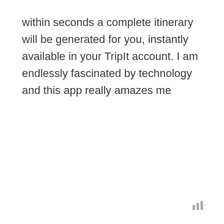within seconds a complete itinerary will be generated for you, instantly available in your TripIt account. I am endlessly fascinated by technology and this app really amazes me
|||°